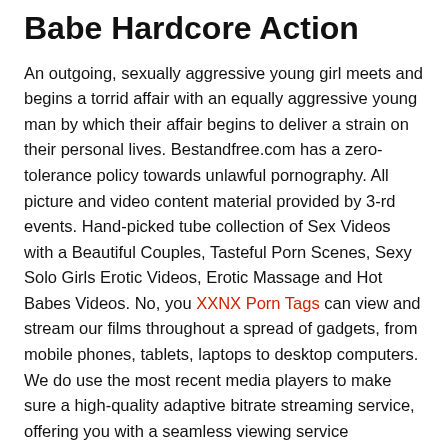Babe Hardcore Action
An outgoing, sexually aggressive young girl meets and begins a torrid affair with an equally aggressive young man by which their affair begins to deliver a strain on their personal lives. Bestandfree.com has a zero-tolerance policy towards unlawful pornography. All picture and video content material provided by 3-rd events. Hand-picked tube collection of Sex Videos with a Beautiful Couples, Tasteful Porn Scenes, Sexy Solo Girls Erotic Videos, Erotic Massage and Hot Babes Videos. No, you XXNX Porn Tags can view and stream our films throughout a spread of gadgets, from mobile phones, tablets, laptops to desktop computers. We do use the most recent media players to make sure a high-quality adaptive bitrate streaming service, offering you with a seamless viewing service automatically throughout all of your devices.